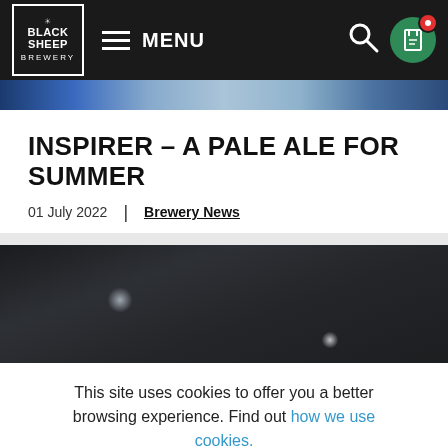[Figure (screenshot): Black Sheep Brewery navigation bar with logo, hamburger menu labeled MENU, search icon, and green cart circle with red badge]
[Figure (photo): Blue gradient banner strip]
INSPIRER – A PALE ALE FOR SUMMER
01 July 2022  |  Brewery News
[Figure (photo): Dark grayscale photo of brewery equipment]
This site uses cookies to offer you a better browsing experience. Find out how we use cookies.
ACCEPT COOKIES